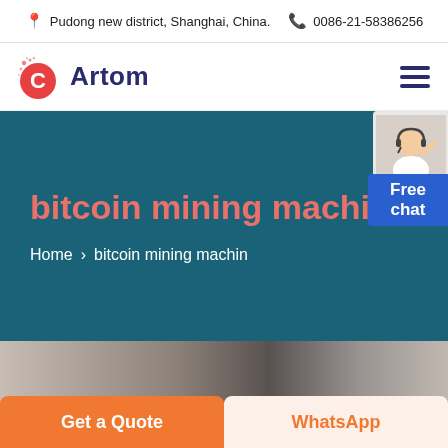Pudong new district, Shanghai, China.  0086-21-58386256
[Figure (logo): Artom company logo with red C icon and blue Artom text, plus hamburger menu icon]
bitcoin mining machin
Home > bitcoin mining machin
[Figure (illustration): Free chat button with customer service representative figure on teal background]
[Figure (photo): Partial product image strip showing bitcoin mining machines in a dark setting]
Get a Quote
WhatsApp